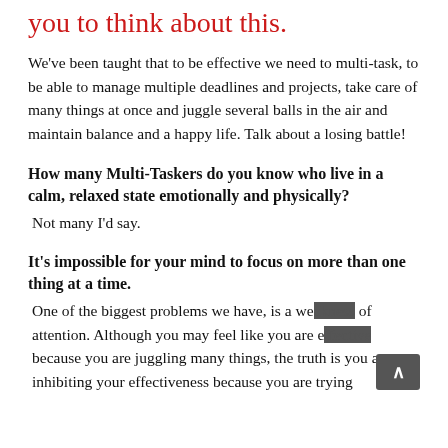you to think about this.
We've been taught that to be effective we need to multi-task, to be able to manage multiple deadlines and projects, take care of many things at once and juggle several balls in the air and maintain balance and a happy life. Talk about a losing battle!
How many Multi-Taskers do you know who live in a calm, relaxed state emotionally and physically?
Not many I'd say.
It's impossible for your mind to focus on more than one thing at a time.
One of the biggest problems we have, is a weakness of attention. Although you may feel like you are effective because you are juggling many things, the truth is you are inhibiting your effectiveness because you are trying